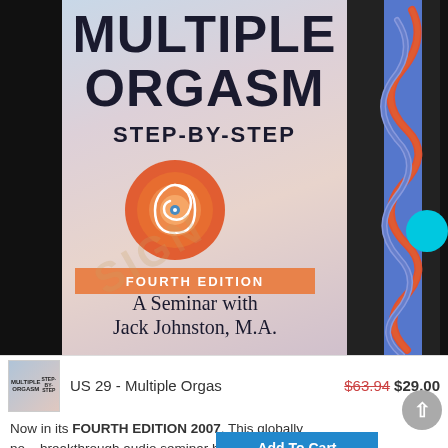[Figure (photo): Book cover for 'Multiple Orgasm Step-by-Step, Fourth Edition, A Seminar with Jack Johnston, M.A.' showing title text, a spiral/swirl graphic, and decorative right panel with wavy lines on dark background.]
US 29 - Multiple Orgas
$63.94 $29.00
Now in its FOURTH EDITION 2007. This globally po... breakthrough audio seminar has helped men and their partners throughout the world, over...